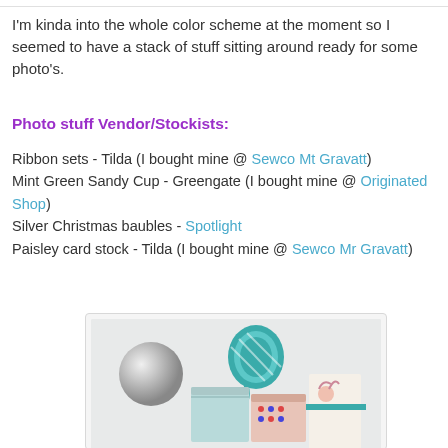I'm kinda into the whole color scheme at the moment so I seemed to have a stack of stuff sitting around ready for some photo's.
Photo stuff Vendor/Stockists:
Ribbon sets - Tilda (I bought mine @ Sewco Mt Gravatt) Mint Green Sandy Cup - Greengate (I bought mine @ Originated Shop) Silver Christmas baubles - Spotlight Paisley card stock - Tilda (I bought mine @ Sewco Mr Gravatt)
[Figure (photo): Photo of Christmas craft items including a silver bauble, teal/mint ribbon rolls, decorative boxes with reindeer and floral patterns, arranged on a white background]